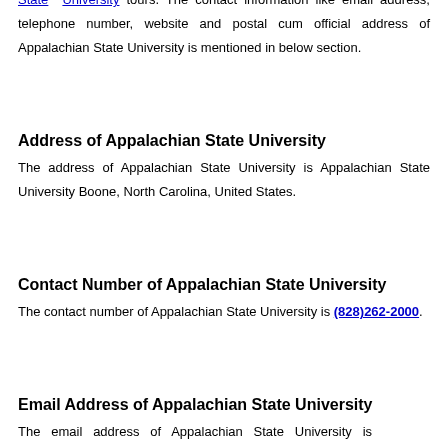State University tuition, Appalachian State University checklist, Appalachian State University first connections and Appalachian State University tours. The contact information like email address, telephone number, website and postal cum official address of Appalachian State University is mentioned in below section.
Address of Appalachian State University
The address of Appalachian State University is Appalachian State University Boone, North Carolina, United States.
Contact Number of Appalachian State University
The contact number of Appalachian State University is (828)262-2000.
Email Address of Appalachian State University
The email address of Appalachian State University is webcommunications@appstate.edu.